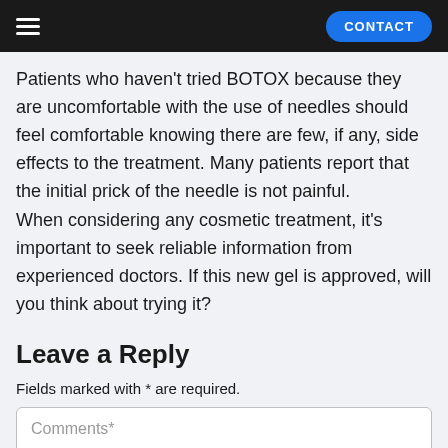≡  CONTACT
Patients who haven't tried BOTOX because they are uncomfortable with the use of needles should feel comfortable knowing there are few, if any, side effects to the treatment. Many patients report that the initial prick of the needle is not painful.
When considering any cosmetic treatment, it's important to seek reliable information from experienced doctors. If this new gel is approved, will you think about trying it?
Leave a Reply
Fields marked with * are required.
Comments*